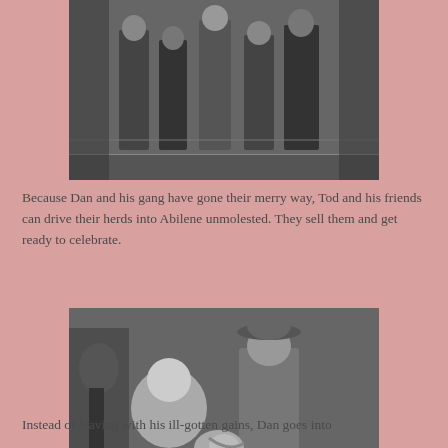[Figure (photo): Black and white still from a Western film showing a group of men, some in cowboy attire, on what appears to be a staircase or platform.]
Because Dan and his gang have gone their merry way, Tod and his friends can drive their herds into Abilene unmolested. They sell them and get ready to celebrate.
[Figure (photo): Black and white still from a Western film showing an older man and a younger man in a cowboy hat examining something together indoors.]
Instead of leaving with his ill-gotten gains, Dan goes into